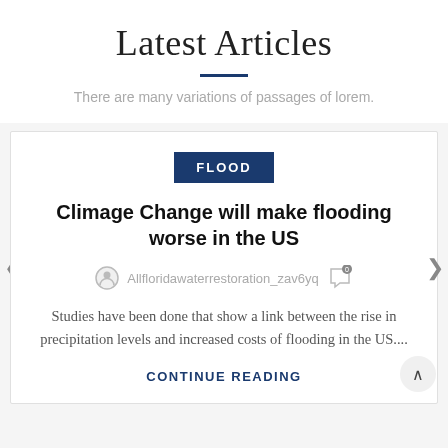Latest Articles
There are many variations of passages of lorem.
FLOOD
Climage Change will make flooding worse in the US
Allfloridawaterrestoration_zav6yq
Studies have been done that show a link between the rise in precipitation levels and increased costs of flooding in the US....
CONTINUE READING